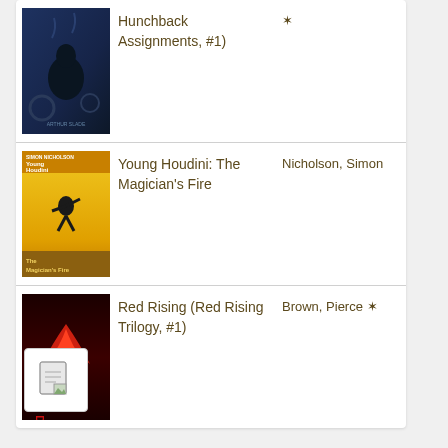| Cover | Title | Author |
| --- | --- | --- |
| [image] | Hunchback Assignments, #1) | * |
| [image] | Young Houdini: The Magician's Fire | Nicholson, Simon |
| [image] | Red Rising (Red Rising Trilogy, #1) | Brown, Pierce * |
[Figure (illustration): Small document/file icon in bottom left corner]